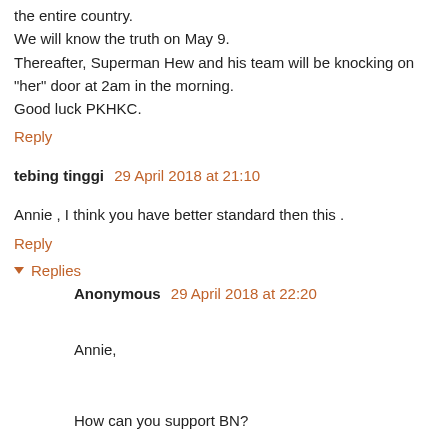the entire country.
We will know the truth on May 9.
Thereafter, Superman Hew and his team will be knocking on "her" door at 2am in the morning.
Good luck PKHKC.
Reply
tebing tinggi  29 April 2018 at 21:10
Annie , I think you have better standard then this .
Reply
Replies
Anonymous  29 April 2018 at 22:20
Annie,
How can you support BN?
Rm2.6 billion that goes into Najib account.